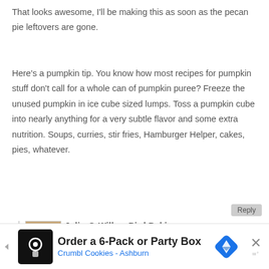That looks awesome, I'll be making this as soon as the pecan pie leftovers are gone.
Here's a pumpkin tip. You know how most recipes for pumpkin stuff don't call for a whole can of pumpkin puree? Freeze the unused pumpkin in ice cube sized lumps. Toss a pumpkin cube into nearly anything for a very subtle flavor and some extra nutrition. Soups, curries, stir fries, Hamburger Helper, cakes, pies, whatever.
Julie @ Willow Bird Baking
September 19, 2011 at 4:07 pm (11 years ago)
Thanks, Andrew! Great idea!
[Figure (other): Advertisement banner for Crumbl Cookies - Ashburn: Order a 6-Pack or Party Box]